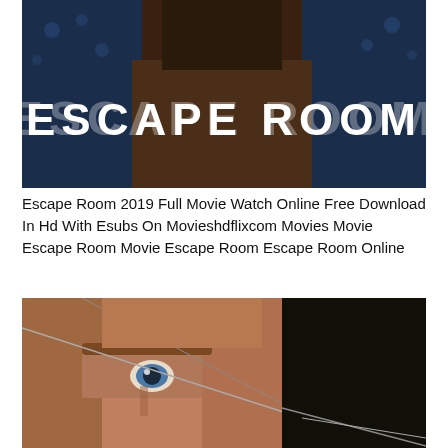[Figure (photo): Movie poster for Escape Room 2019 showing a person in dark clothing with large white glowing text 'ESCAPE ROOM' overlaid]
Escape Room 2019 Full Movie Watch Online Free Download In Hd With Esubs On Movieshdflixcom Movies Movie Escape Room Movie Escape Room Escape Room Online
[Figure (photo): Close-up movie poster image showing a man's face with blue eyes and thin wire or string across his face, dark background]